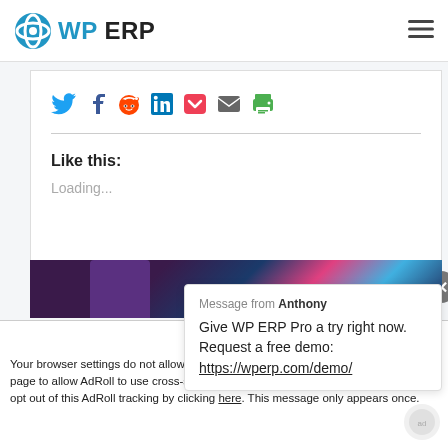WP ERP
[Figure (screenshot): Social sharing icons row: Twitter (blue bird), Facebook (blue f), Reddit (orange alien), LinkedIn (blue in), Pocket (red P), Email (envelope), Print (green printer)]
Like this:
Loading...
[Figure (screenshot): Chat popup from Anthony: Give WP ERP Pro a try right now. Request a free demo: https://wperp.com/demo/]
[Figure (photo): Colorful image strip with dark purple/blue gradient and a person's silhouette]
Accept and Close ✕
Your browser settings do not allow cross-site tracking for advertising. Click on this page to allow AdRoll to use cross-site tracking to tailor ads to you. Learn more or opt out of this AdRoll tracking by clicking here. This message only appears once.